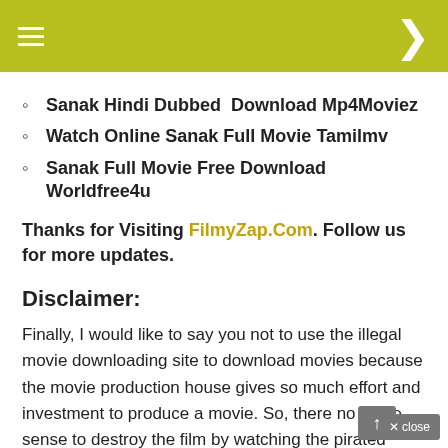≡ )
Sanak Hindi Dubbed  Download Mp4Moviez
Watch Online Sanak Full Movie Tamilmv
Sanak Full Movie Free Download Worldfree4u
Thanks for Visiting FilmyZap.Com. Follow us for more updates.
Disclaimer:
Finally, I would like to say you not to use the illegal movie downloading site to download movies because the movie production house gives so much effort and investment to produce a movie. So, there no make sense to destroy the film by watching the pirated